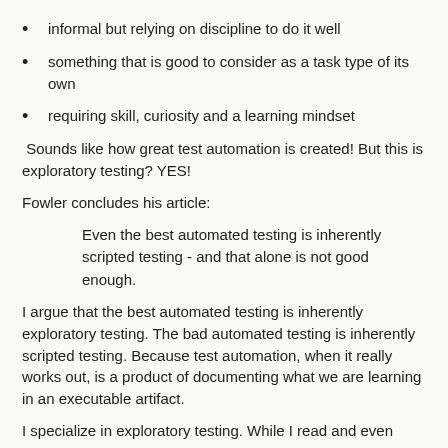informal but relying on discipline to do it well
something that is good to consider as a task type of its own
requiring skill, curiosity and a learning mindset
Sounds like how great test automation is created! But this is exploratory testing? YES!
Fowler concludes his article:
Even the best automated testing is inherently scripted testing - and that alone is not good enough.
I argue that the best automated testing is inherently exploratory testing. The bad automated testing is inherently scripted testing. Because test automation, when it really works out, is a product of documenting what we are learning in an executable artifact.
I specialize in exploratory testing. While I read and even